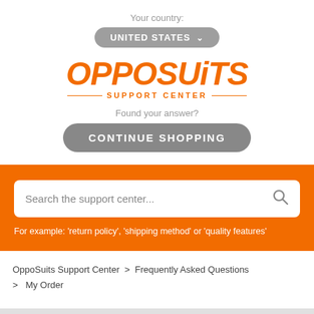Your country:
UNITED STATES ˅
[Figure (logo): OppoSuits Support Center logo in orange italic bold font with decorative lines]
Found your answer?
CONTINUE SHOPPING
Search the support center...
For example: 'return policy', 'shipping method' or 'quality features'
OppoSuits Support Center  >  Frequently Asked Questions  >  My Order